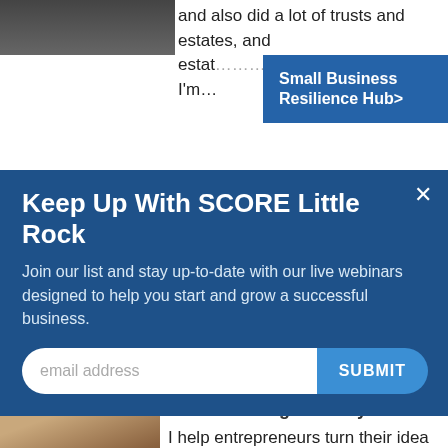[Figure (photo): Partially visible person photo at top left]
and also did a lot of trusts and estates, and estat... I'm…
Small Business Resilience Hub>
AREAS OF EXPERTISE: Buying or Selling a Business; Financing / Capital; Legal Issues; Tax Planning
Keep Up With SCORE Little Rock
Join our list and stay up-to-date with our live webinars designed to help you start and grow a successful business.
email address  SUBMIT
[Figure (photo): Headshot of Adrian Koppes, older man with gray hair smiling]
Adrian Koppes
SCORE Orange County
I help entrepreneurs turn their idea for a product or service into a